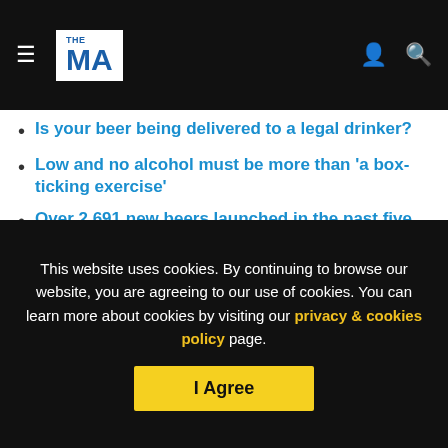THE MA — navigation header with hamburger menu, logo, user icon, search icon
Is your beer being delivered to a legal drinker?
Low and no alcohol must be more than 'a box-ticking exercise'
Over 2,691 new beers launched in the past five years
How can small-pack add value in the on-trade
Threats to beer: 'draught cocktails and soft drinks'
Brewers are the 'rock stars of our trade'
This website uses cookies. By continuing to browse our website, you are agreeing to our use of cookies. You can learn more about cookies by visiting our privacy & cookies policy page.
I Agree